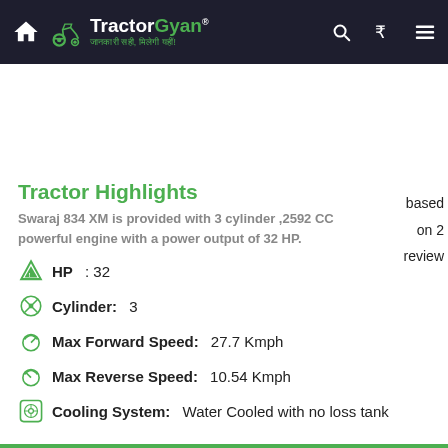TractorGyan — जानकारी सही, मिलेगी यहीं!
based on 2 review
Tractor Highlights
Swaraj 834 XM is provided with 3 cylinder ,2592 CC powerful engine with a power output of 32 HP.
HP : 32
Cylinder: 3
Max Forward Speed: 27.7 Kmph
Max Reverse Speed: 10.54 Kmph
Cooling System: Water Cooled with no loss tank